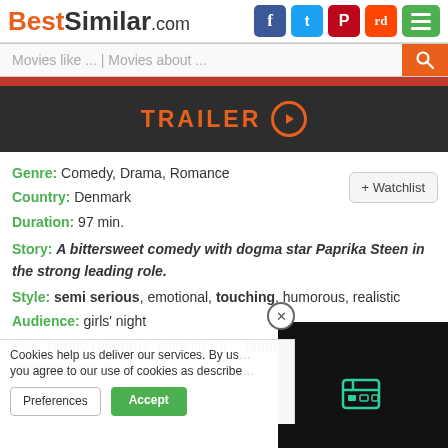BestSimilar.com
Movies like ... | Movies about ...
[Figure (screenshot): Red navigation bar]
[Figure (screenshot): Dark trailer bar with orange TRAILER text and play button circle]
Genre: Comedy, Drama, Romance
Country: Denmark
Duration: 97 min.
Story: A bittersweet comedy with dogma star Paprika Steen in the strong leading role.
Style: semi serious, emotional, touching, humorous, realistic
Audience: girls' night
Plot: family relations, infidelity, te... family problems, estrangement, h...
Cookies help us deliver our services. By us... you agree to our use of cookies as describe...
Place: Denmark